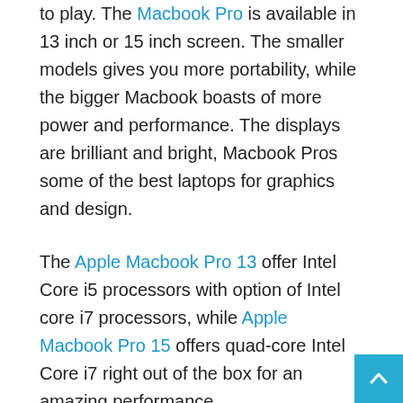to play. The Macbook Pro is available in 13 inch or 15 inch screen. The smaller models gives you more portability, while the bigger Macbook boasts of more power and performance. The displays are brilliant and bright, Macbook Pros some of the best laptops for graphics and design.
The Apple Macbook Pro 13 offer Intel Core i5 processors with option of Intel core i7 processors, while Apple Macbook Pro 15 offers quad-core Intel Core i7 right out of the box for an amazing performance.
You also get up to a massive a massive 16GB of RAM that ensures you load applications and run programs at the speed of light. The only major downside with this unit is the rather measly 128GB of internal storage space.
Apple Macbook Pro offer assorted ports including Thunderbolt 3 for lightning fast data transfer. You also get up